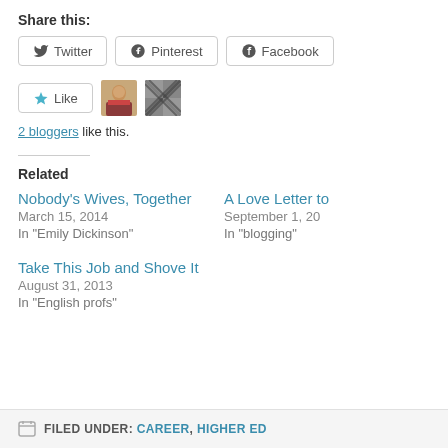Share this:
Twitter  Pinterest  Facebook
[Figure (other): Like button with star icon, two blogger avatar thumbnails]
2 bloggers like this.
Related
Nobody's Wives, Together
March 15, 2014
In "Emily Dickinson"
A Love Letter to
September 1, 20
In "blogging"
Take This Job and Shove It
August 31, 2013
In "English profs"
FILED UNDER: CAREER, HIGHER ED